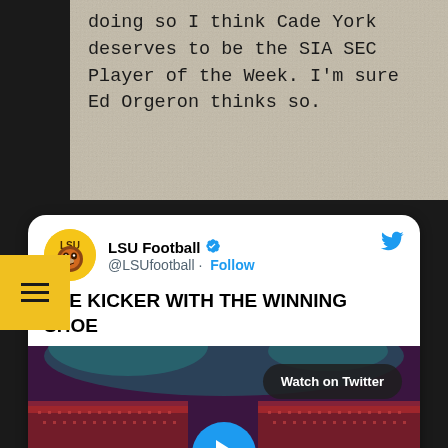doing so I think Cade York deserves to be the SIA SEC Player of the Week. I'm sure Ed Orgeron thinks so.
#ItJustMeansMore #GeauxTigers
[Figure (screenshot): Embedded tweet from @LSUfootball (LSU Football, verified) with text 'THE KICKER WITH THE WINNING SHOE' and a video thumbnail showing a football stadium scene with a Watch on Twitter button and a play button overlay.]